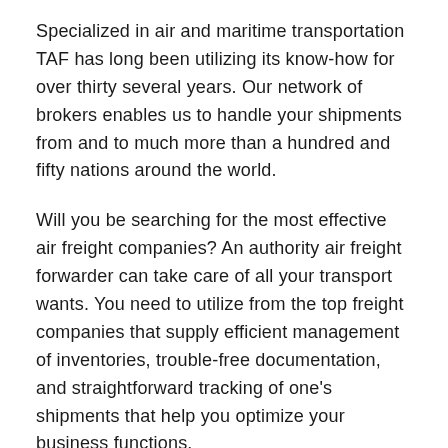Specialized in air and maritime transportation TAF has long been utilizing its know-how for over thirty several years. Our network of brokers enables us to handle your shipments from and to much more than a hundred and fifty nations around the world.
Will you be searching for the most effective air freight companies? An authority air freight forwarder can take care of all your transport wants. You need to utilize from the top freight companies that supply efficient management of inventories, trouble-free documentation, and straightforward tracking of one's shipments that help you optimize your business functions.
The coordination specialists from the organization